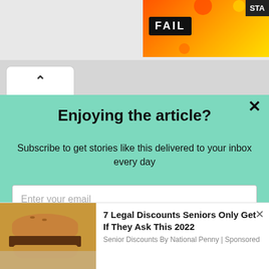[Figure (screenshot): Top ad banner with orange/fire background showing 'FAIL' badge and 'STA' text on dark background, partially visible]
[Figure (screenshot): Browser tab bar with caret/up-arrow button on left side, white tab visible]
Enjoying the article?
Subscribe to get stories like this delivered to your inbox every day
Enter your email
Subscribe
[Figure (photo): Photo of a burger/hamburger in foil wrapper]
7 Legal Discounts Seniors Only Get If They Ask This 2022
Senior Discounts By National Penny | Sponsored